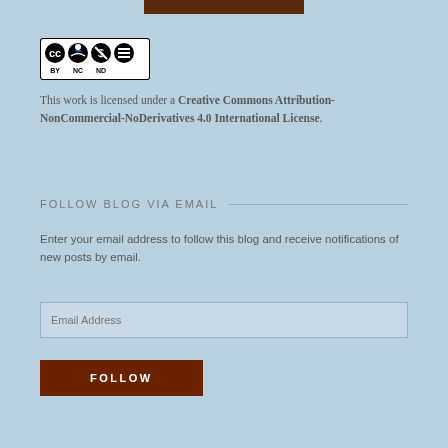[Figure (logo): Creative Commons BY NC ND license logo badge]
This work is licensed under a Creative Commons Attribution-NonCommercial-NoDerivatives 4.0 International License.
FOLLOW BLOG VIA EMAIL
Enter your email address to follow this blog and receive notifications of new posts by email.
Email Address
FOLLOW